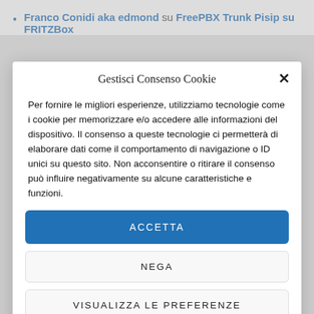Franco Conidi aka edmond su FreePBX Trunk Pisip su FRITZBox
Gestisci Consenso Cookie
Per fornire le migliori esperienze, utilizziamo tecnologie come i cookie per memorizzare e/o accedere alle informazioni del dispositivo. Il consenso a queste tecnologie ci permetterà di elaborare dati come il comportamento di navigazione o ID unici su questo sito. Non acconsentire o ritirare il consenso può influire negativamente su alcune caratteristiche e funzioni.
ACCETTA
NEGA
VISUALIZZA LE PREFERENZE
Cookie e Privacy